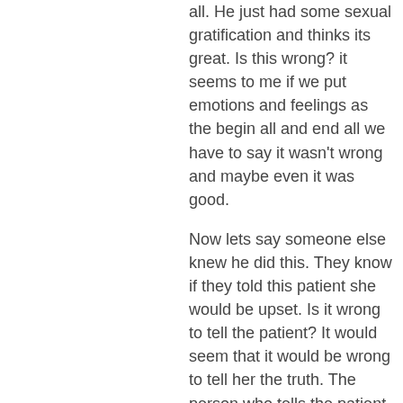all. He just had some sexual gratification and thinks its great. Is this wrong? it seems to me if we put emotions and feelings as the begin all and end all we have to say it wasn't wrong and maybe even it was good.
Now lets say someone else knew he did this. They know if they told this patient she would be upset. Is it wrong to tell the patient? It would seem that it would be wrong to tell her the truth. The person who tells the patient the truth would be worse than the dentist if we are only looking at feelings and emotions.
I think that illustrates that there is more than right and